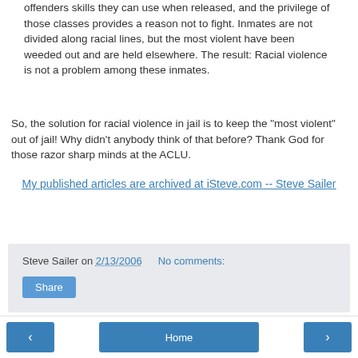offenders skills they can use when released, and the privilege of those classes provides a reason not to fight. Inmates are not divided along racial lines, but the most violent have been weeded out and are held elsewhere. The result: Racial violence is not a problem among these inmates.
So, the solution for racial violence in jail is to keep the "most violent" out of jail! Why didn't anybody think of that before? Thank God for those razor sharp minds at the ACLU.
My published articles are archived at iSteve.com -- Steve Sailer
Steve Sailer on 2/13/2006   No comments:
Share
‹  Home  ›